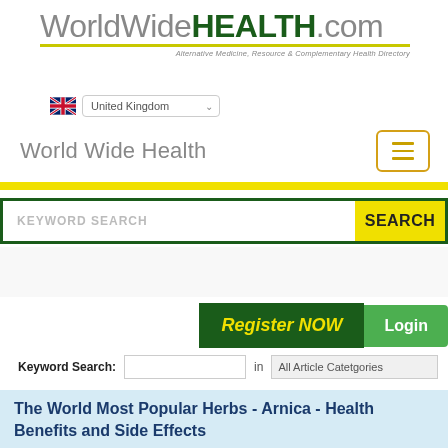[Figure (logo): WorldWideHEALTH.com logo with tagline 'Alternative Medicine, Resource & Complementary Health Directory']
[Figure (other): United Kingdom flag icon with country dropdown selector showing 'United Kingdom']
World Wide Health
[Figure (other): Hamburger menu button with three horizontal lines, yellow/gold border]
[Figure (other): Yellow divider bar]
[Figure (other): Keyword search box with green border and yellow SEARCH button]
[Figure (other): Register NOW button (dark green with yellow text) and Login button (light green)]
Keyword Search: [input field] in All Article Catetgories
The World Most Popular Herbs - Arnica - Health Benefits and Side Effects